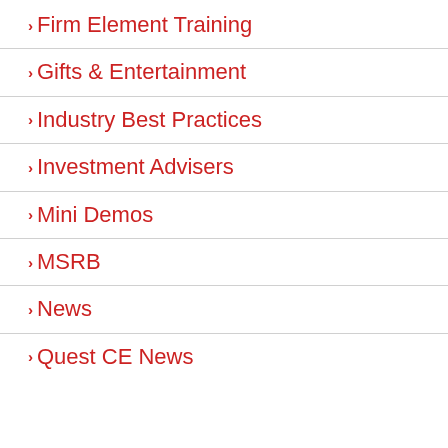> Firm Element Training
> Gifts & Entertainment
> Industry Best Practices
> Investment Advisers
> Mini Demos
> MSRB
> News
> Quest CE News